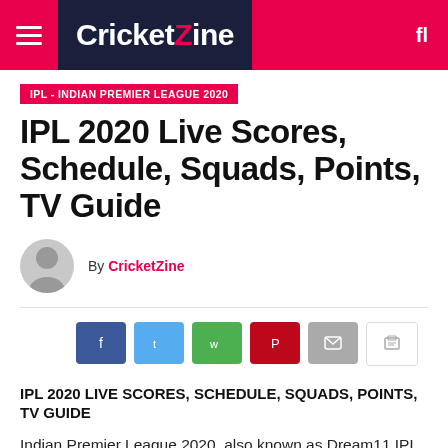CricketZine
IPL - INDIAN PREMIER LEAGUE 2020
IPL 2020 Live Scores, Schedule, Squads, Points, TV Guide
By CricketZine
[Figure (infographic): Social share buttons: Facebook, Twitter, WhatsApp, Pinterest, Email, Print]
IPL 2020 LIVE SCORES, SCHEDULE, SQUADS, POINTS, TV GUIDE
Indian Premier League 2020, also known as Dream11 IPL 2020 is the 13th edition of the Indian Premier League. IPL is a professional men's domestic Twenty20 cricket league